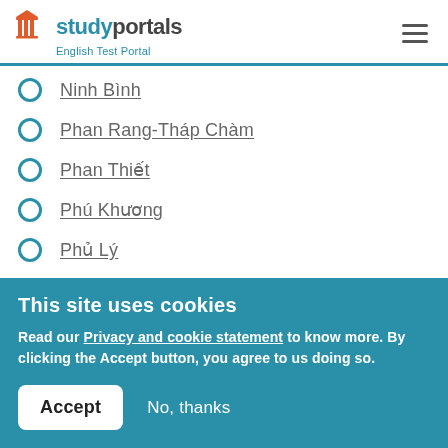studyportals — English Test Portal
Ninh Bình
Phan Rang-Tháp Chàm
Phan Thiết
Phú Khương
Phủ Lý
Pleiku
Quảng Ngãi
This site uses cookies
Read our Privacy and cookie statement to know more. By clicking the Accept button, you agree to us doing so.
Accept  No, thanks